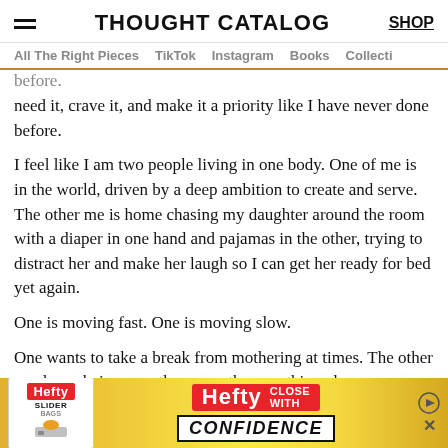THOUGHT CATALOG | SHOP
All The Right Pieces | TikTok | Instagram | Books | Collecti
opened up for me as a result of Daisy being in school. I need it, crave it, and make it a priority like I have never done before.
I feel like I am two people living in one body. One of me is in the world, driven by a deep ambition to create and serve. The other me is home chasing my daughter around the room with a diaper in one hand and pajamas in the other, trying to distract her and make her laugh so I can get her ready for bed yet again.
One is moving fast. One is moving slow.
One wants to take a break from mothering at times. The other one loves being a mother more than anything else.
[Figure (infographic): Hefty Slider Bags advertisement banner with orange/yellow background, Hefty logo, 'CLOSE WITH CONFIDENCE' text]